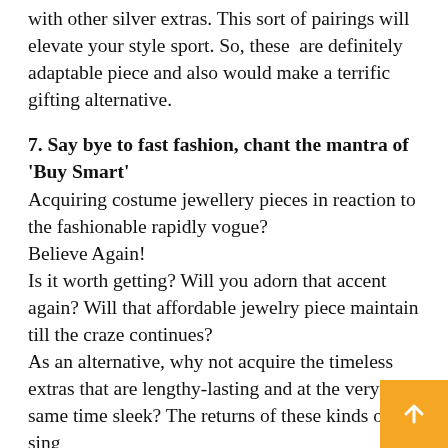with other silver extras. This sort of pairings will elevate your style sport. So, these are definitely adaptable piece and also would make a terrific gifting alternative.
7. Say bye to fast fashion, chant the mantra of 'Buy Smart'
Acquiring costume jewellery pieces in reaction to the fashionable rapidly vogue?
Believe Again!
Is it worth getting? Will you adorn that accent again? Will that affordable jewelry piece maintain till the craze continues?
As an alternative, why not acquire the timeless extras that are lengthy-lasting and at the very same time sleek? The returns of these kinds of a single time investments are always larger.